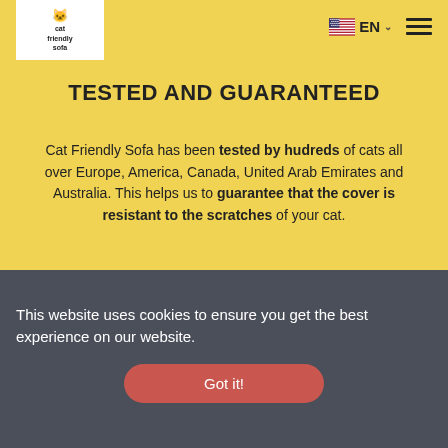[Figure (logo): Cat Friendly Sofa logo: white rectangular box with cat drawing icon and text 'cat friendly sofa' in bold lowercase]
[Figure (other): US flag icon with 'EN' text and dropdown chevron, and a hamburger menu icon on the right]
TESTED AND GUARANTEED
Cat Friendly Sofa has been tested by hudreds of cats all over Europe, America, Canada, United Arab Emirates and Australia. This helps us to guarantee that the cover is resistant to the scratches of your cat.
This website uses cookies to ensure you get the best experience on our website.
Got it!